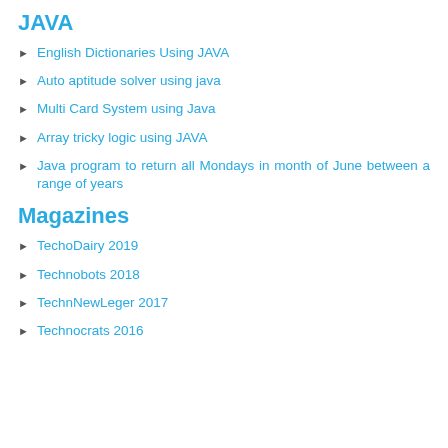JAVA
English Dictionaries Using JAVA
Auto aptitude solver using java
Multi Card System using Java
Array tricky logic using JAVA
Java program to return all Mondays in month of June between a range of years
Magazines
TechoDairy 2019
Technobots 2018
TechnNewLeger 2017
Technocrats 2016